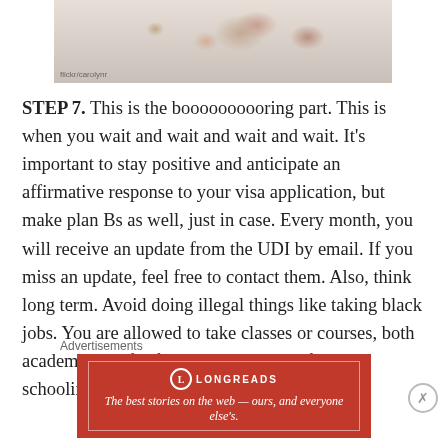[Figure (photo): Photo of dried/wilted roses and flower petals on a white background, with a watermark at the bottom left.]
STEP 7. This is the boooooooooring part. This is when you wait and wait and wait and wait. It's important to stay positive and anticipate an affirmative response to your visa application, but make plan Bs as well, just in case. Every month, you will receive an update from the UDI by email. If you miss an update, feel free to contact them. Also, think long term. Avoid doing illegal things like taking black jobs. You are allowed to take classes or courses, both academic and for fun. With regards to formal schooling, it depends on the school if they'd let
Advertisements
[Figure (other): Longreads advertisement banner — red background with logo and tagline: The best stories on the web — ours, and everyone else's.]